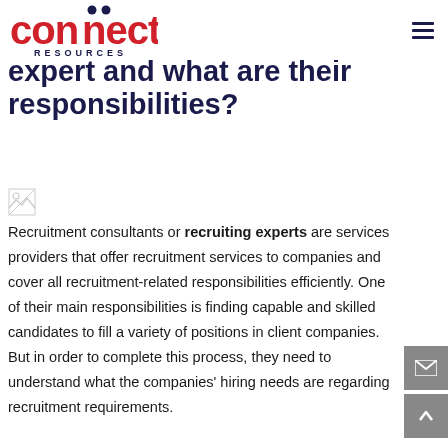connect RESOURCES
expert and what are their responsibilities?
[Figure (other): Broken/missing image placeholder icon]
Recruitment consultants or recruiting experts are services providers that offer recruitment services to companies and cover all recruitment-related responsibilities efficiently. One of their main responsibilities is finding capable and skilled candidates to fill a variety of positions in client companies. But in order to complete this process, they need to understand what the companies' hiring needs are regarding recruitment requirements.